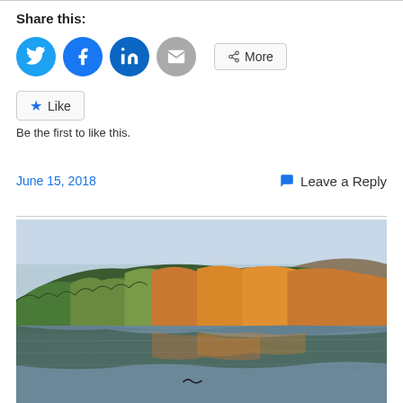Share this:
[Figure (infographic): Social share buttons: Twitter (blue circle), Facebook (blue circle), LinkedIn (dark blue circle), Email (grey circle), and a More button]
Like
Be the first to like this.
June 15, 2018
Leave a Reply
[Figure (photo): Autumn landscape photo showing a lake reflecting colorful fall foliage on a hillside, with a bird flying low over the water]